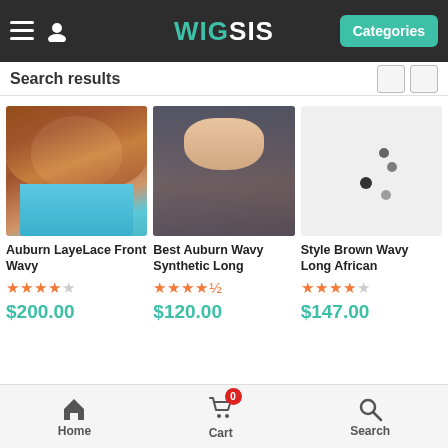WIG SIS — Categories
Search results
[Figure (photo): Auburn wavy wig on female model in blue top]
Auburn LayeLace Front Wavy
★★★★☆ $200.00
[Figure (photo): Best auburn wavy synthetic long wig on dark-haired female model]
Best Auburn Wavy Synthetic Long
★★★★½ $120.00
[Figure (photo): Loading spinner dots — image loading for Style Brown Wavy Long African]
Style Brown Wavy Long African
★★★★☆ $147.00
Home  Cart 0  Search